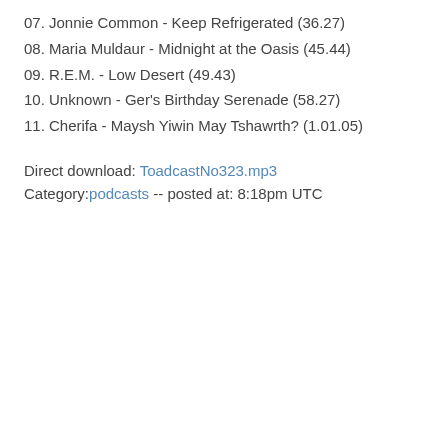07. Jonnie Common - Keep Refrigerated (36.27)
08. Maria Muldaur - Midnight at the Oasis (45.44)
09. R.E.M. - Low Desert (49.43)
10. Unknown - Ger's Birthday Serenade (58.27)
11. Cherifa - Maysh Yiwin May Tshawrth? (1.01.05)
Direct download: ToadcastNo323.mp3
Category:podcasts -- posted at: 8:18pm UTC